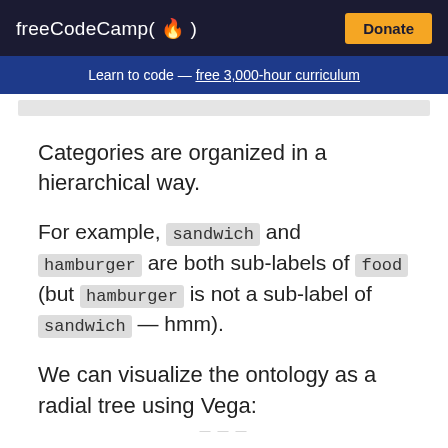freeCodeCamp(fire) | Donate
Learn to code — free 3,000-hour curriculum
Categories are organized in a hierarchical way.
For example, sandwich and hamburger are both sub-labels of food (but hamburger is not a sub-label of sandwich — hmm).
We can visualize the ontology as a radial tree using Vega: